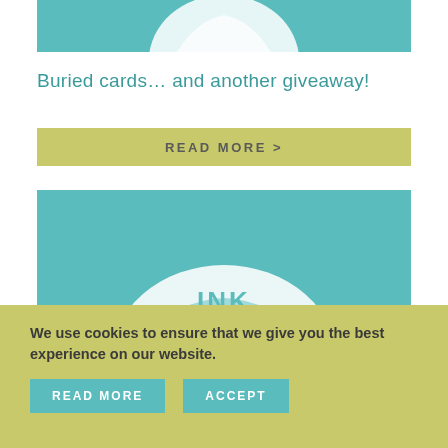[Figure (illustration): Partial teal-background logo/icon visible at top of page, cropped]
Buried cards… and another giveaway!
READ MORE >
[Figure (logo): Teal background with white INK stamp/logo illustration, partially visible]
We use cookies to ensure that we give you the best experience on our website.
READ MORE
ACCEPT